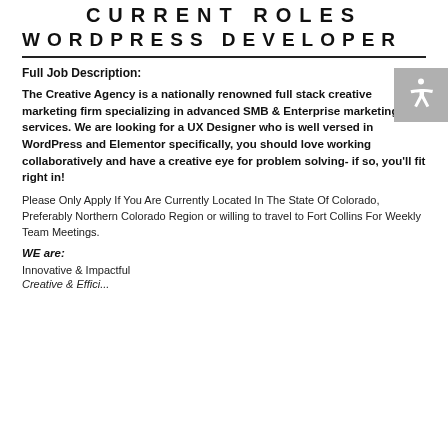CURRENT ROLES
WORDPRESS DEVELOPER
Full Job Description:
The Creative Agency is a nationally renowned full stack creative marketing firm specializing in advanced SMB & Enterprise marketing services. We are looking for a UX Designer who is well versed in WordPress and Elementor specifically, you should love working collaboratively and have a creative eye for problem solving- if so, you'll fit right in!
Please Only Apply If You Are Currently Located In The State Of Colorado, Preferably Northern Colorado Region or willing to travel to Fort Collins For Weekly Team Meetings.
WE are:
Innovative & Impactful
Creative & Efficient